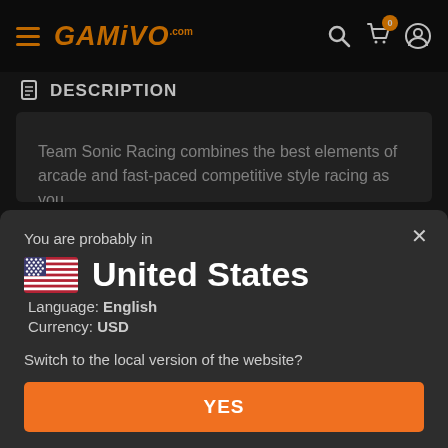GAMIVO.com
DESCRIPTION
Team Sonic Racing combines the best elements of arcade and fast-paced competitive style racing as you
You are probably in
United States
Language: English
Currency: USD
Switch to the local version of the website?
YES